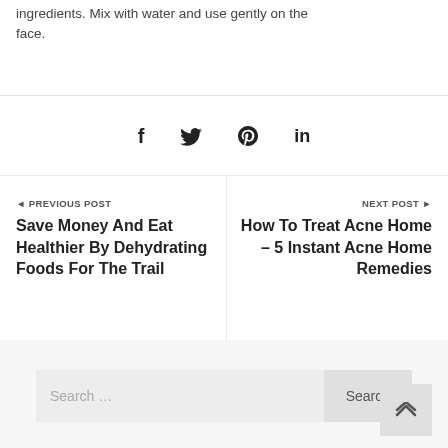ingredients. Mix with water and use gently on the face.
[Figure (other): Social sharing icons: Facebook (f), Twitter (bird), Pinterest (p), LinkedIn (in)]
◄ PREVIOUS POST
Save Money And Eat Healthier By Dehydrating Foods For The Trail
NEXT POST ►
How To Treat Acne Home – 5 Instant Acne Home Remedies
Search …
Search